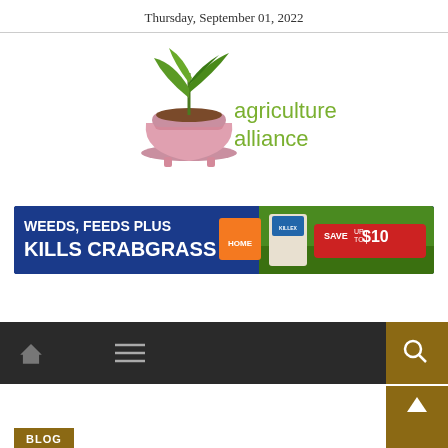Thursday, September 01, 2022
[Figure (logo): Agriculture Alliance logo with a potted plant illustration and green text reading 'agriculture alliance']
[Figure (screenshot): Advertisement banner: 'WEEDS, FEEDS PLUS KILLS CRABGRASS' with Home Depot logo and 'SAVE up to $10' offer, showing fertilizer bag on lawn background]
[Figure (screenshot): Navigation bar with home icon, hamburger menu, search button (gold background), scroll-up button (gold background), and BLOG label (gold background)]